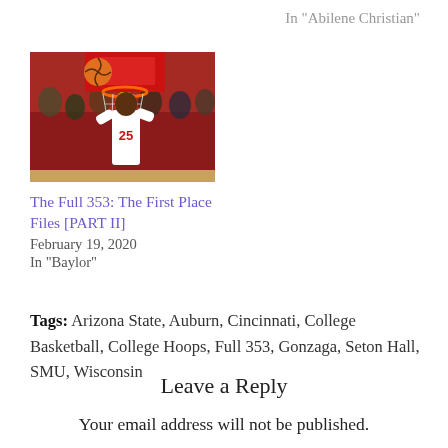In "Abilene Christian"
[Figure (photo): Basketball player #25 dunking at a college basketball game, crowd visible in background, red backboard visible]
The Full 353: The First Place Files [PART II]
February 19, 2020
In "Baylor"
Tags: Arizona State, Auburn, Cincinnati, College Basketball, College Hoops, Full 353, Gonzaga, Seton Hall, SMU, Wisconsin
Leave a Reply
Your email address will not be published.